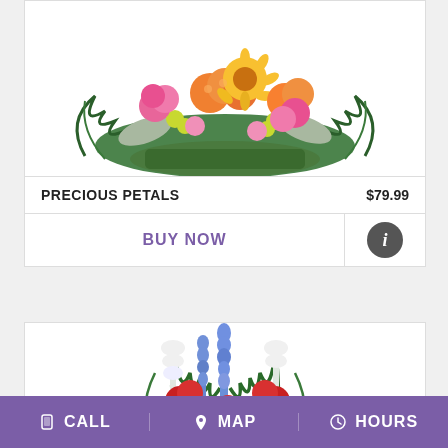[Figure (photo): Floral arrangement - Precious Petals: orange roses, pink roses, yellow gerbera daisies, and green flowers in a decorative arrangement with fern leaves]
PRECIOUS PETALS
$79.99
BUY NOW
[Figure (photo): Patriotic floral arrangement with red carnations, white spider mums, blue delphinium, white gladiolus, and greenery in a tall vase arrangement]
CALL   MAP   HOURS